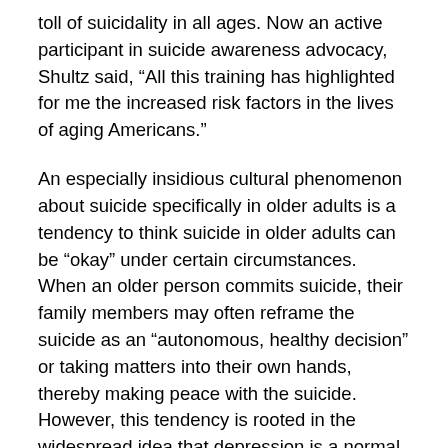toll of suicidality in all ages. Now an active participant in suicide awareness advocacy, Shultz said, “All this training has highlighted for me the increased risk factors in the lives of aging Americans.”
An especially insidious cultural phenomenon about suicide specifically in older adults is a tendency to think suicide in older adults can be “okay” under certain circumstances. When an older person commits suicide, their family members may often reframe the suicide as an “autonomous, healthy decision” or taking matters into their own hands, thereby making peace with the suicide. However, this tendency is rooted in the widespread idea that depression is a normal, expected part of age, instead of treating depression and suicide in older adults as avoidable and treatable. Older adults do not have to be miserable; age does not prohibit a person from experiencing joy in life, and every effort should be made to make that possible. An older adult’s